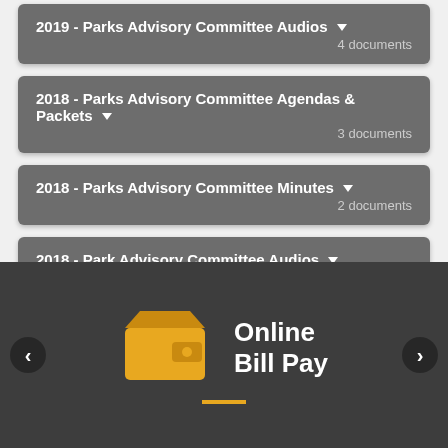2019 - Parks Advisory Committee Audios ▾
4 documents
2018 - Parks Advisory Committee Agendas & Packets ▾
3 documents
2018 - Parks Advisory Committee Minutes ▾
2 documents
2018 - Park Advisory Committee Audios ▾
3 documents
[Figure (screenshot): Online Bill Pay promotional banner with wallet icon, left and right navigation arrows, and an orange underline bar on a dark background.]